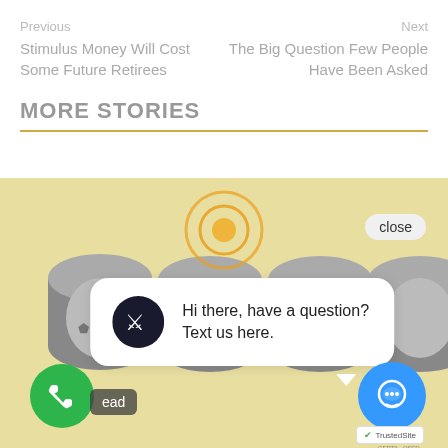Previous
Stimulus Money Will Cost Some Future Retirees
Next
The Big Question Few People Have Been Asked
MORE STORIES
[Figure (screenshot): A webpage screenshot showing a story thumbnail with money roll images on a yellow background, overlaid with a chat widget popup reading 'Hi there, have a question? Text us here.' along with a green phone button, blue chat button, and TrustedSite badge.]